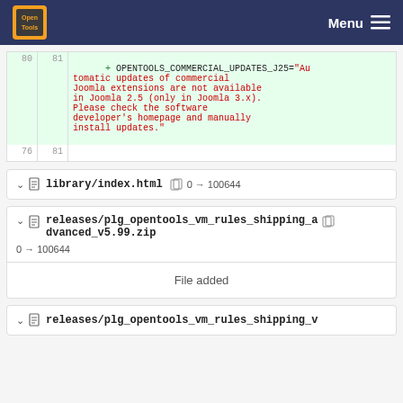Open Tools — Menu
[Figure (screenshot): Code diff block showing line 80-81 with added line: OPENTOOLS_COMMERCIAL_UPDATES_J25="Automatic updates of commercial Joomla extensions are not available in Joomla 2.5 (only in Joomla 3.x). Please check the software developer's homepage and manually install updates."]
library/index.html  0 → 100644
releases/plg_opentools_vm_rules_shipping_advanced_v5.99.zip  0 → 100644
File added
releases/plg_opentools_vm_rules_shipping_v